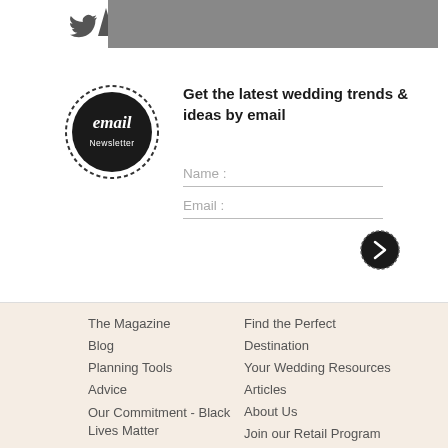[Figure (screenshot): Twitter icon and gray banner bar at the top of the page]
[Figure (logo): Email Newsletter circular logo with handwritten text reading 'email Newsletter' on black circular background]
Get the latest wedding trends & ideas by email
Name :
Email :
[Figure (other): Submit/next arrow button — dark circle with right-pointing chevron arrow]
The Magazine
Blog
Planning Tools
Advice
Our Commitment - Black Lives Matter
Find the Perfect Destination
Your Wedding Resources
Articles
About Us
Join our Retail Program